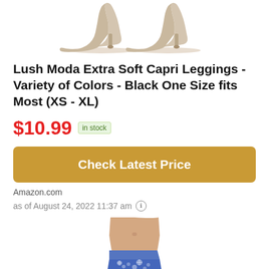[Figure (photo): Partial view of beige/nude high heel pumps, two shoes visible from mid-calf down against white background]
Lush Moda Extra Soft Capri Leggings - Variety of Colors - Black One Size fits Most (XS - XL)
$10.99  in stock
Check Latest Price
Amazon.com
as of August 24, 2022 11:37 am
[Figure (photo): Partial view of a person wearing blue patterned capri leggings, showing midsection and top of leggings]